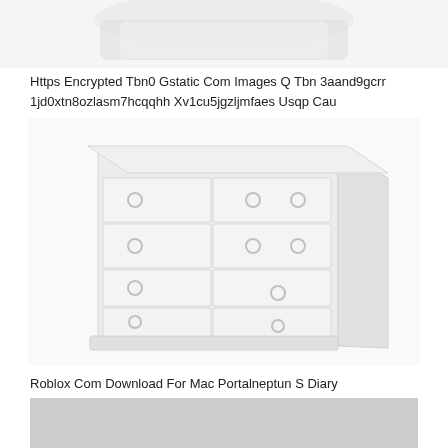[Figure (photo): Partial top view of a white item, cropped at top of page]
Https Encrypted Tbn0 Gstatic Com Images Q Tbn 3aand9gcrr 1jd0xtn8ozlasm7hcqqhh Xv1cu5jgzljmfaes Usqp Cau
[Figure (photo): White wooden dresser with multiple drawers and round knob handles, shown in a perspective/angled view on white background]
Roblox Com Download For Mac Portalneptun S Diary
[Figure (photo): Gray/silver partial image at bottom of page, content mostly cut off]